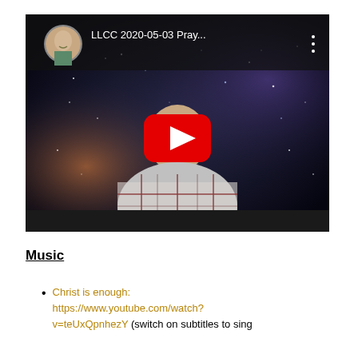[Figure (screenshot): YouTube video thumbnail showing a man in a plaid shirt against a space/galaxy background. The video title reads 'LLCC 2020-05-03 Pray...' with a YouTube play button overlay in the center. A circular profile photo of the presenter appears in the top left, and a three-dot menu icon appears in the top right.]
Music
Christ is enough: https://www.youtube.com/watch?v=teUxQpnhezY (switch on subtitles to sing